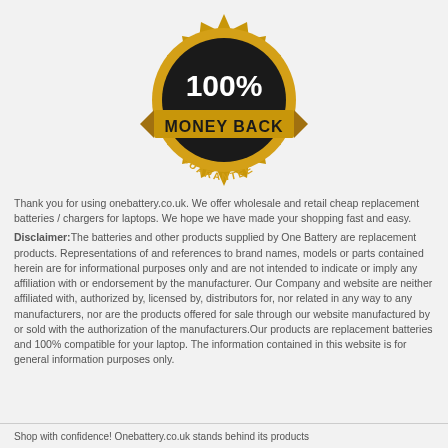[Figure (illustration): 100% Money Back Guarantee gold badge/seal with black center circle, gold ribbon with MONEY BACK text, and GUARANTEE text at bottom]
Thank you for using onebattery.co.uk. We offer wholesale and retail cheap replacement batteries / chargers for laptops. We hope we have made your shopping fast and easy.
Disclaimer:The batteries and other products supplied by One Battery are replacement products. Representations of and references to brand names, models or parts contained herein are for informational purposes only and are not intended to indicate or imply any affiliation with or endorsement by the manufacturer. Our Company and website are neither affiliated with, authorized by, licensed by, distributors for, nor related in any way to any manufacturers, nor are the products offered for sale through our website manufactured by or sold with the authorization of the manufacturers.Our products are replacement batteries and 100% compatible for your laptop. The information contained in this website is for general information purposes only.
Shop with confidence! Onebattery.co.uk stands behind its products